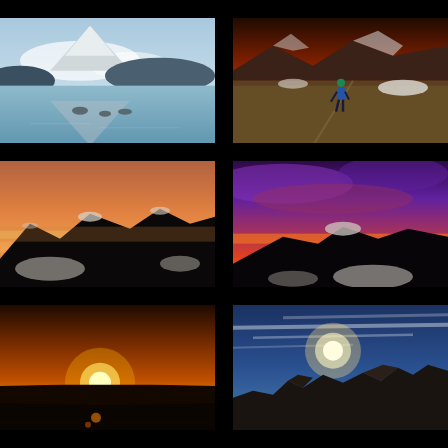[Figure (photo): Mountain lake with snow-capped peak reflected in calm water, low clouds, blue sky — landscape nature photo]
[Figure (photo): Hiker in blue jacket walking on hillside with snow patches, golden grass, mountains at sunset in background]
[Figure (photo): Mountain ridgeline at sunset with warm orange-pink sky, snow patches on dark rocky peaks]
[Figure (photo): Dramatic purple-red sunset sky over dark mountain silhouette with snow and a small lake below]
[Figure (photo): Bright golden sunset/sunrise with sun on horizon, orange glow over dark landscape]
[Figure (photo): Sun low in blue sky with wispy clouds over rocky mountain ridgeline, scenic landscape]